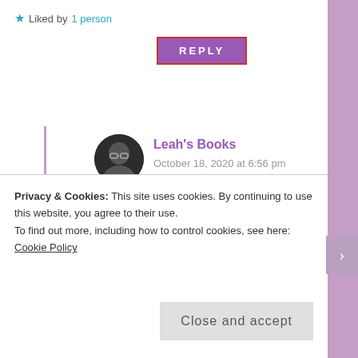Liked by 1 person
REPLY
Leah's Books
October 18, 2020 at 6:56 pm
I have got to read more of her books. I loved her style!
Liked by 1 person
REPLY
Privacy & Cookies: This site uses cookies. By continuing to use this website, you agree to their use.
To find out more, including how to control cookies, see here: Cookie Policy
Close and accept